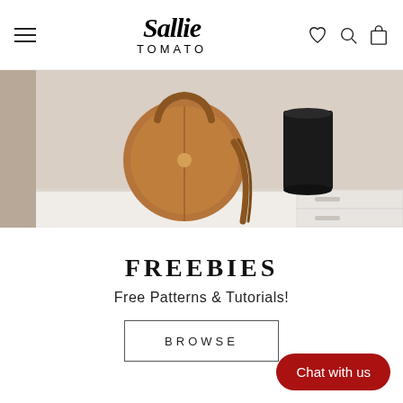Sallie Tomato — navigation header with hamburger menu, logo, heart, search, and bag icons
[Figure (photo): Photo of a round brown leather crossbody bag and a black cylindrical cup on a white shelf surface, cropped hero image]
FREEBIES
Free Patterns & Tutorials!
BROWSE
Chat with us